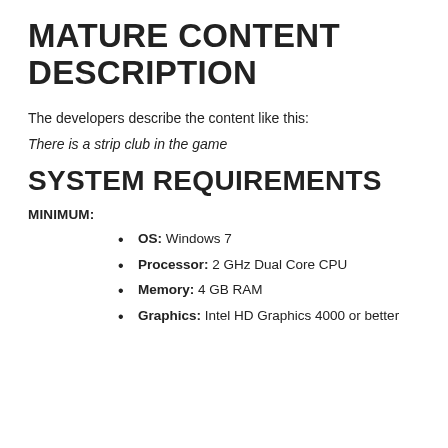MATURE CONTENT DESCRIPTION
The developers describe the content like this:
There is a strip club in the game
SYSTEM REQUIREMENTS
MINIMUM:
OS: Windows 7
Processor: 2 GHz Dual Core CPU
Memory: 4 GB RAM
Graphics: Intel HD Graphics 4000 or better